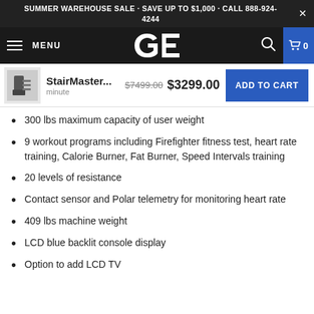SUMMER WAREHOUSE SALE - SAVE UP TO $1,000 - CALL 888-924-4244
[Figure (screenshot): Navigation bar with hamburger menu, GE logo, search icon, and cart button showing 0 items]
StairMaster... $7499.00 $3299.00 ADD TO CART
300 lbs maximum capacity of user weight
9 workout programs including Firefighter fitness test, heart rate training, Calorie Burner, Fat Burner, Speed Intervals training
20 levels of resistance
Contact sensor and Polar telemetry for monitoring heart rate
409 lbs machine weight
LCD blue backlit console display
Option to add LCD TV